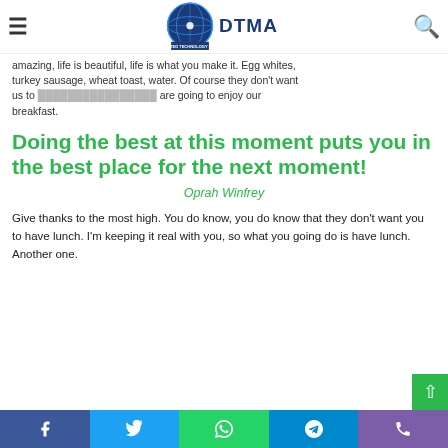DTMA — Distributed Technology Moldova Association
amazing, life is beautiful, life is what you make it. Egg whites, turkey sausage, wheat toast, water. Of course they don't want us to have our own personal moments, they are going to enjoy our breakfast.
Doing the best at this moment puts you in the best place for the next moment!
Oprah Winfrey
Give thanks to the most high. You do know, you do know that they don't want you to have lunch. I'm keeping it real with you, so what you going do is have lunch. Another one.